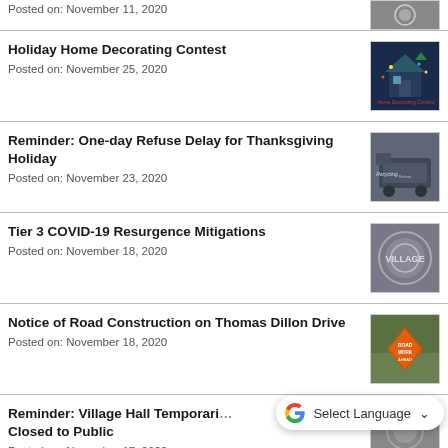Posted on: November 11, 2020
[Figure (photo): Government seal/logo thumbnail, gray background]
Holiday Home Decorating Contest
Posted on: November 25, 2020
[Figure (photo): Holiday home decorating contest image - dark blue house with lights]
Reminder: One-day Refuse Delay for Thanksgiving Holiday
Posted on: November 23, 2020
[Figure (photo): Refuse/recycling truck thumbnail]
Tier 3 COVID-19 Resurgence Mitigations
Posted on: November 18, 2020
[Figure (photo): Village seal/logo circular emblem, gray background]
Notice of Road Construction on Thomas Dillon Drive
Posted on: November 18, 2020
[Figure (photo): Orange road construction sign photo]
Reminder: Village Hall Temporarily Closed to Public
Posted on: November 17, 2020